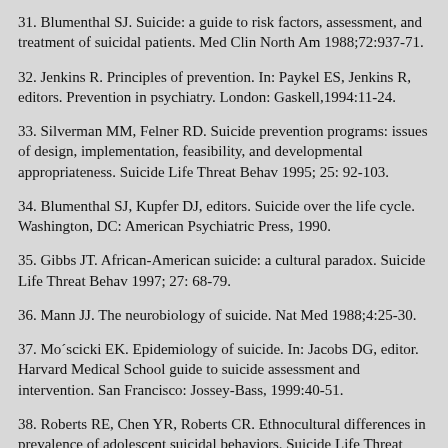31. Blumenthal SJ. Suicide: a guide to risk factors, assessment, and treatment of suicidal patients. Med Clin North Am 1988;72:937-71.
32. Jenkins R. Principles of prevention. In: Paykel ES, Jenkins R, editors. Prevention in psychiatry. London: Gaskell,1994:11-24.
33. Silverman MM, Felner RD. Suicide prevention programs: issues of design, implementation, feasibility, and developmental appropriateness. Suicide Life Threat Behav 1995; 25: 92-103.
34. Blumenthal SJ, Kupfer DJ, editors. Suicide over the life cycle. Washington, DC: American Psychiatric Press, 1990.
35. Gibbs JT. African-American suicide: a cultural paradox. Suicide Life Threat Behav 1997; 27: 68-79.
36. Mann JJ. The neurobiology of suicide. Nat Med 1988;4:25-30.
37. Mo´scicki EK. Epidemiology of suicide. In: Jacobs DG, editor. Harvard Medical School guide to suicide assessment and intervention. San Francisco: Jossey-Bass, 1999:40-51.
38. Roberts RE, Chen YR, Roberts CR. Ethnocultural differences in prevalence of adolescent suicidal behaviors. Suicide Life Threat